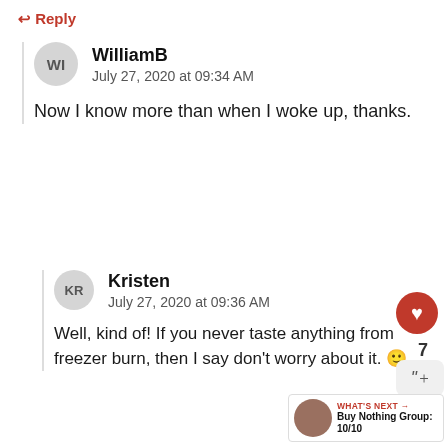↩ Reply
WilliamB
July 27, 2020 at 09:34 AM
Now I know more than when I woke up, thanks.
Kristen
July 27, 2020 at 09:36 AM
Well, kind of! If you never taste anything from freezer burn, then I say don't worry about it. 🙂